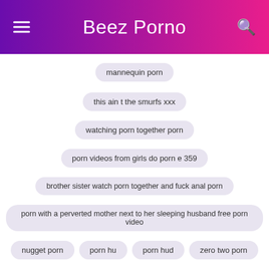Beez Porno
mannequin porn
this ain t the smurfs xxx
watching porn together porn
porn videos from girls do porn e 359
brother sister watch porn together and fuck anal porn
porn with a perverted mother next to her sleeping husband free porn video
nugget porn
porn hu
porn hud
zero two porn
porn meme
Related Porn Links: XXX Movies
[Figure (photo): Row of thumbnail images at bottom of page]